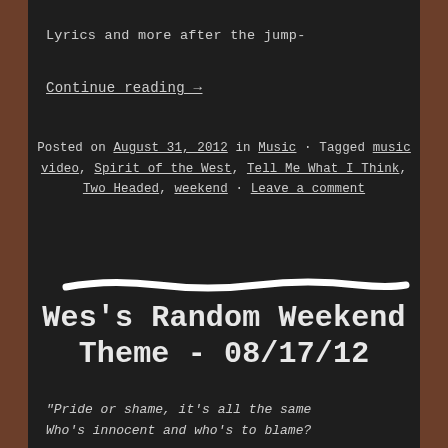Lyrics and more after the jump-
Continue reading →
Posted on August 31, 2012 in Music • Tagged music video, Spirit of the West, Tell Me What I Think, Two Headed, weekend • Leave a comment
[Figure (illustration): A hand-drawn white chalk line divider on dark chalkboard background]
Wes's Random Weekend Theme - 08/17/12
"Pride or shame, it's all the same Who's innocent and who's to blame?